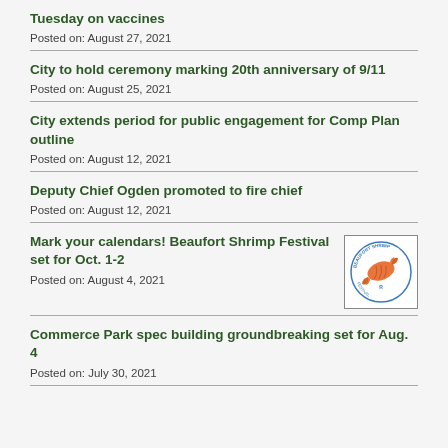Tuesday on vaccines
Posted on: August 27, 2021
City to hold ceremony marking 20th anniversary of 9/11
Posted on: August 25, 2021
City extends period for public engagement for Comp Plan outline
Posted on: August 12, 2021
Deputy Chief Ogden promoted to fire chief
Posted on: August 12, 2021
Mark your calendars! Beaufort Shrimp Festival set for Oct. 1-2
Posted on: August 4, 2021
[Figure (logo): Beaufort Shrimp Festival logo with shrimp graphic and circular text]
Commerce Park spec building groundbreaking set for Aug. 4
Posted on: July 30, 2021